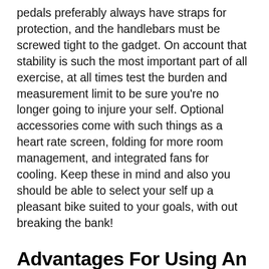pedals preferably always have straps for protection, and the handlebars must be screwed tight to the gadget. On account that stability is such the most important part of all exercise, at all times test the burden and measurement limit to be sure you're no longer going to injure your self. Optional accessories come with such things as a heart rate screen, folding for more room management, and integrated fans for cooling. Keep these in mind and also you should be able to select your self up a pleasant bike suited to your goals, with out breaking the bank!
Advantages For Using An Exercise Bike
There are advantages to the use of any type of fitness bike, which is likely one of the reason it's transform any such well-liked tool. The low-impact